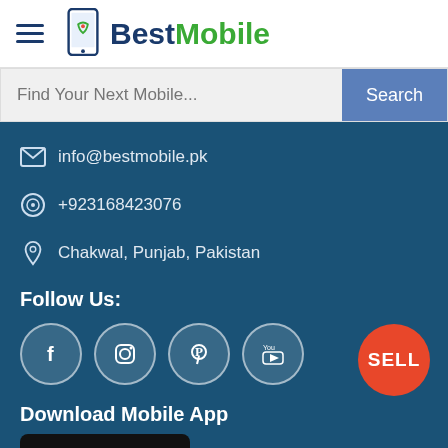BestMobile
Find Your Next Mobile...
info@bestmobile.pk
+923168423076
Chakwal, Punjab, Pakistan
Follow Us:
[Figure (other): Social media icons: Facebook, Instagram, Pinterest, YouTube]
Download Mobile App
SELL